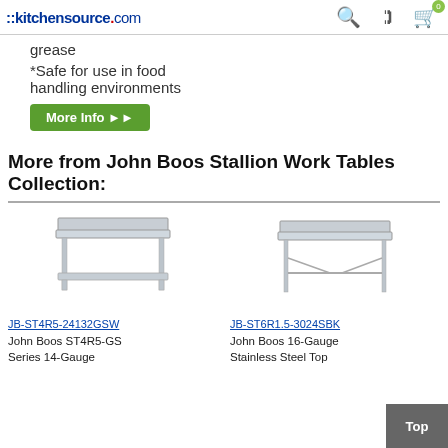::kitchensource.com
grease
*Safe for use in food handling environments
More Info ▶▶
More from John Boos Stallion Work Tables Collection:
[Figure (photo): John Boos stainless steel work table with backsplash and undershelf - JB-ST4R5-24132GSW]
JB-ST4R5-24132GSW
John Boos ST4R5-GS Series 14-Gauge
[Figure (photo): John Boos stainless steel work table with backsplash - JB-ST6R1.5-3024SBK]
JB-ST6R1.5-3024SBK
John Boos 16-Gauge Stainless Steel Top